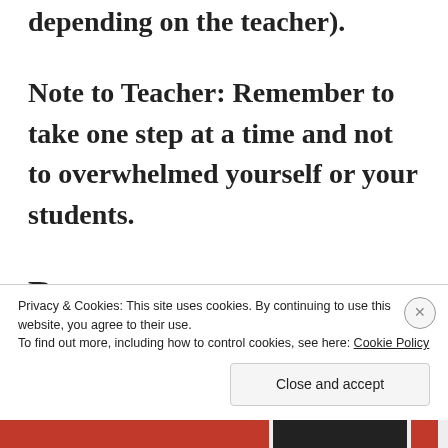depending on the teacher).
Note to Teacher: Remember to take one step at a time and not to overwhelmed yourself or your students.
Resources:
Privacy & Cookies: This site uses cookies. By continuing to use this website, you agree to their use.
To find out more, including how to control cookies, see here: Cookie Policy
Close and accept